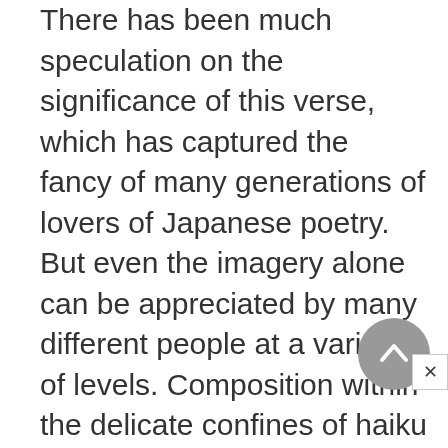There has been much speculation on the significance of this verse, which has captured the fancy of many generations of lovers of Japanese poetry. But even the imagery alone can be appreciated by many different people at a variety of levels. Composition within the delicate confines of haiku versification definitely sets Basho off as one of the greatest mystical poets of Japan. The simplicity it exhibits is the result of the methodical rejection of much